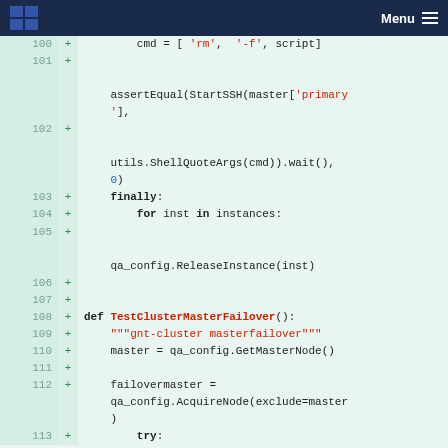Menu
[Figure (screenshot): Code diff view showing Python code lines 100-113 with line numbers, plus signs indicating additions, on a green-tinted background. Code includes cmd assignment, assertEqual call, finally block, for loop, qa_config calls, and TestClusterMasterFailover function definition.]